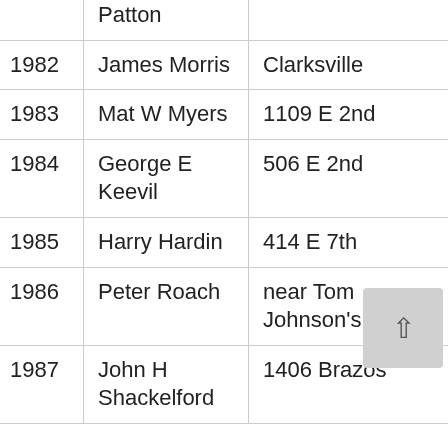| Year | Name | Address | Ward | Side |
| --- | --- | --- | --- | --- |
|  | Patton |  |  |  |
| 1982 | James Morris | Clarksville | 2 | C |
| 1983 | Mat W Myers | 1109 E 2nd | 10 | W |
| 1984 | George E Keevil | 506 E 2nd | 10 | W |
| 1985 | Harry Hardin | 414 E 7th | 9 | W |
| 1986 | Peter Roach | near Tom Johnson's Store | 6 | C |
| 1987 | John H Shackelford | 1406 Brazos | 7 | W |